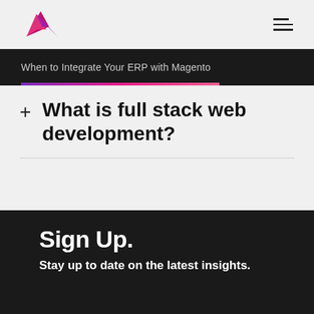When to Integrate Your ERP with Magento
What is full stack web development?
Sign Up.
Stay up to date on the latest insights.